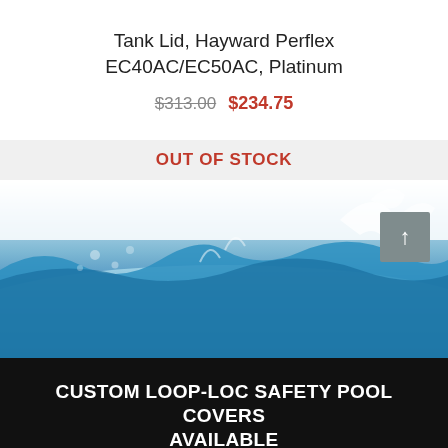Tank Lid, Hayward Perflex EC40AC/EC50AC, Platinum
$313.00  $234.75
OUT OF STOCK
[Figure (photo): Water splash background image with blue water waves and bubbles]
CUSTOM LOOP-LOC SAFETY POOL COVERS AVAILABLE
REQUEST A QUOTE FOR A CUSTOM LOOP-LOC SAFETY POOL COVER